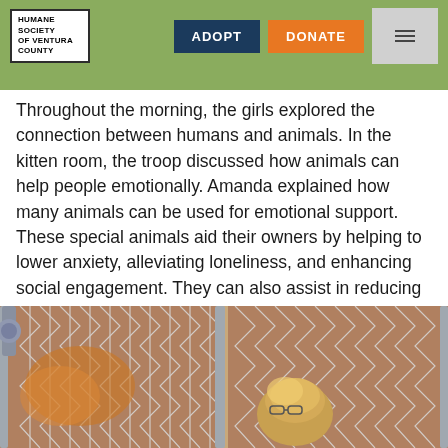HUMANE SOCIETY OF VENTURA COUNTY | ADOPT | DONATE
Throughout the morning, the girls explored the connection between humans and animals. In the kitten room, the troop discussed how animals can help people emotionally. Amanda explained how many animals can be used for emotional support. These special animals aid their owners by helping to lower anxiety, alleviating loneliness, and enhancing social engagement. They can also assist in reducing pain, stress and even depression.
[Figure (photo): A woman with blonde hair looking through a chain-link fence at animals in a shelter kennel area.]